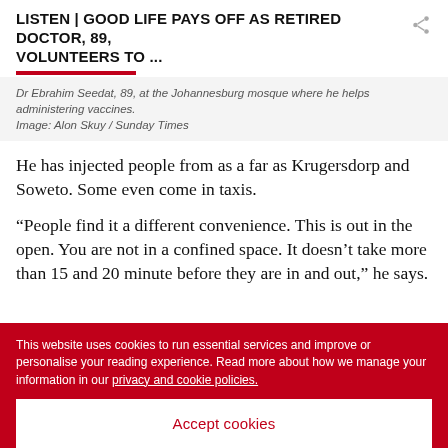LISTEN | GOOD LIFE PAYS OFF AS RETIRED DOCTOR, 89, VOLUNTEERS TO ...
Dr Ebrahim Seedat, 89, at the Johannesburg mosque where he helps administering vaccines.
Image: Alon Skuy / Sunday Times
He has injected people from as a far as Krugersdorp and Soweto. Some even come in taxis.
“People find it a different convenience. This is out in the open. You are not in a confined space. It doesn’t take more than 15 and 20 minute before they are in and out,” he says.
This website uses cookies to run essential services and improve or personalise your reading experience. Read more about how we manage your information in our privacy and cookie policies.